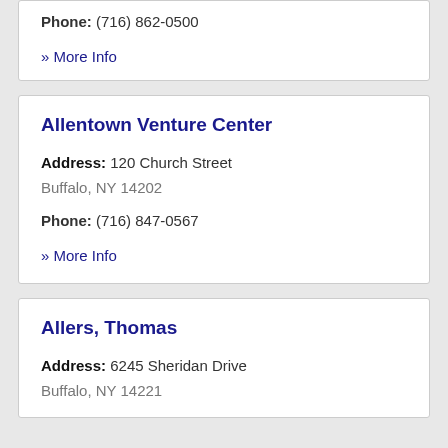Phone: (716) 862-0500
» More Info
Allentown Venture Center
Address: 120 Church Street
Buffalo, NY 14202
Phone: (716) 847-0567
» More Info
Allers, Thomas
Address: 6245 Sheridan Drive
Buffalo, NY 14221
Phone: (716) 635-4376
» More Info